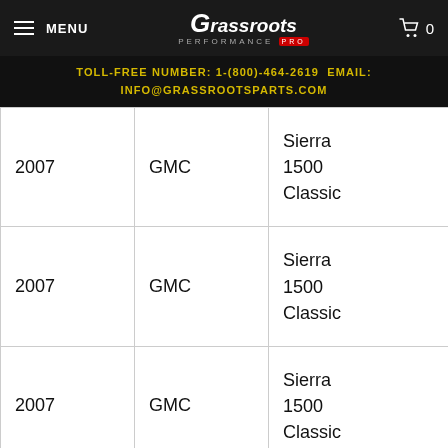MENU | Grassroots Performance | 0
TOLL-FREE NUMBER: 1-(800)-464-2619 EMAIL: INFO@GRASSROOTSPARTS.COM
| Year | Make | Model | Trim |
| --- | --- | --- | --- |
| 2007 | GMC | Sierra 1500 Classic | De… |
| 2007 | GMC | Sierra 1500 Classic | Hy… |
| 2007 | GMC | Sierra 1500 Classic | SL… |
| 2007 | G… | Sierra… |  |
EARN REWARDS